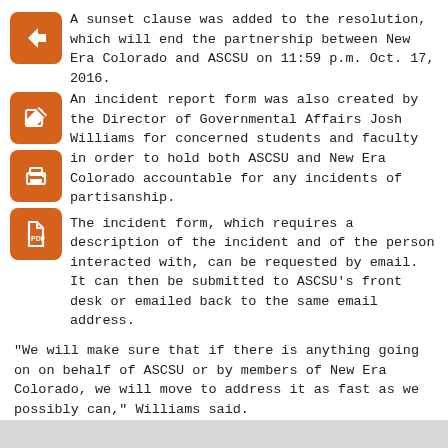A sunset clause was added to the resolution, which will end the partnership between New Era Colorado and ASCSU on 11:59 p.m. Oct. 17, 2016.
An incident report form was also created by the Director of Governmental Affairs Josh Williams for concerned students and faculty in order to hold both ASCSU and New Era Colorado accountable for any incidents of partisanship.
The incident form, which requires a description of the incident and of the person interacted with, can be requested by email. It can then be submitted to ASCSU’s front desk or emailed back to the same email address.
“We will make sure that if there is anything going on on behalf of ASCSU or by members of New Era Colorado, we will move to address it as fast as we possibly can,” Williams said.
Collegian reporter Gabriel Go can be reached at news@collegian.com or on Twitter @rgabrielgo